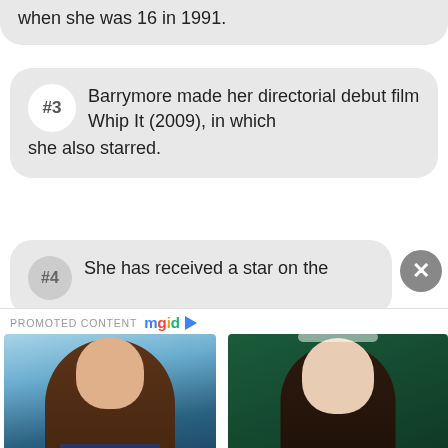when she was 16 in 1991.
#3 Barrymore made her directorial debut film Whip It (2009), in which she also starred.
#4 She has received a star on the
PROMOTED CONTENT mgid
[Figure (photo): Photo of a young woman with long brown hair and glasses, standing outdoors with buildings in the background. Ad for Tips From A Professional Stylist On How To Look Stunning In 2020]
Tips From A Professional Stylist On How To Look Stunning In 2020
[Figure (photo): Photo of a young girl with dark curly hair wearing a flower crown and light blue dress, smiling. Ad for Chronicles Of Narnia Fans Were Bemused To See How She Looks Now]
"Chronicles Of Narnia" Fans Were Bemused To See How She Looks Now